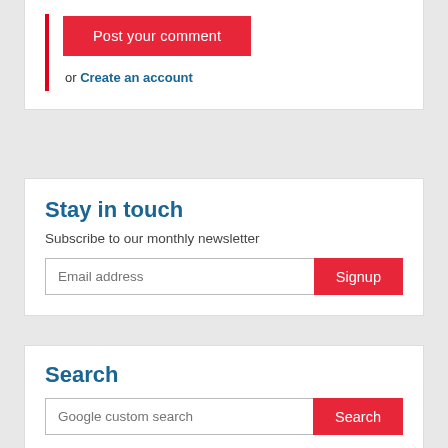Post your comment
or Create an account
Stay in touch
Subscribe to our monthly newsletter
Email address
Signup
Search
Google custom search
Search